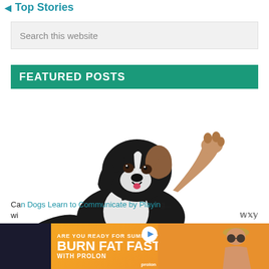Top Stories
Search this website
FEATURED POSTS
[Figure (photo): A black and white Border Collie dog sitting up and raising one paw as if waving, photographed on a white background.]
Can Dogs Learn to Communicate by Playing...wi...
[Figure (infographic): Advertisement banner: ARE YOU READY FOR SUMMER? BURN FAT FAST WITH PROLON, with a photo of a woman in sunglasses and a hat on the right side.]